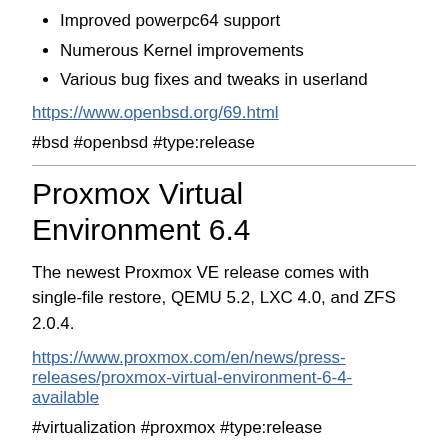Improved powerpc64 support
Numerous Kernel improvements
Various bug fixes and tweaks in userland
https://www.openbsd.org/69.html
#bsd #openbsd #type:release
Proxmox Virtual Environment 6.4
The newest Proxmox VE release comes with single-file restore, QEMU 5.2, LXC 4.0, and ZFS 2.0.4.
https://www.proxmox.com/en/news/press-releases/proxmox-virtual-environment-6-4-available
#virtualization #proxmox #type:release
Fedora 34
The newest release of Fedora 34 and its spins offers